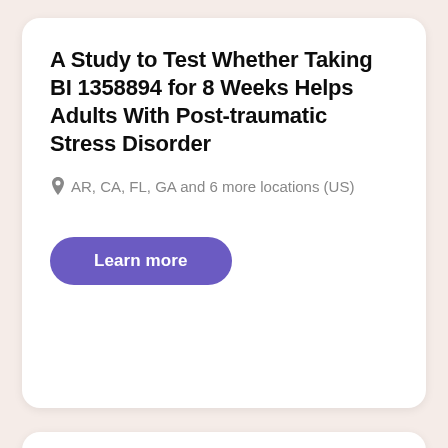A Study to Test Whether Taking BI 1358894 for 8 Weeks Helps Adults With Post-traumatic Stress Disorder
AR, CA, FL, GA and 6 more locations (US)
Learn more
Actively recruiting
Trauma Informed Guilt Reduction